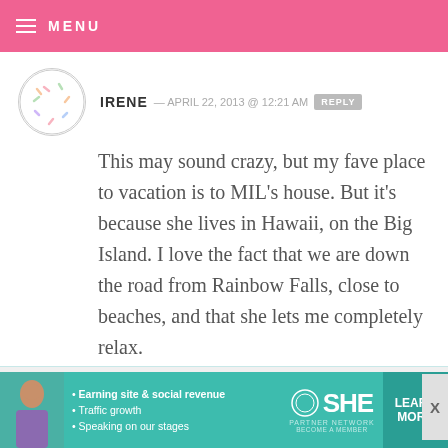MENU
IRENE — APRIL 22, 2013 @ 12:21 AM  REPLY
This may sound crazy, but my fave place to vacation is to MIL's house. But it's because she lives in Hawaii, on the Big Island. I love the fact that we are down the road from Rainbow Falls, close to beaches, and that she lets me completely relax.
TOPKATNZ — APRIL 22, 2013 @ 12:21 AM  REPLY
[Figure (infographic): SHE Partner Network advertisement banner with woman photo, bullet points about earning site and social revenue, traffic growth, speaking on stages, SHE logo, and Learn More button]